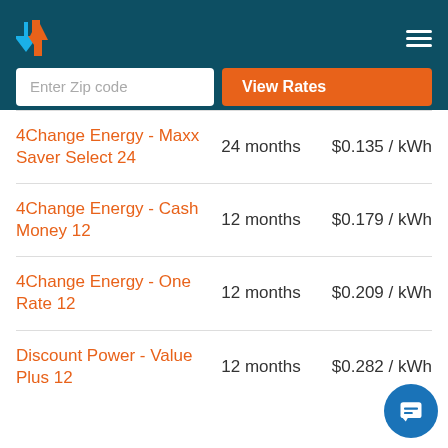[Figure (screenshot): App header with teal background, arrow logo, hamburger menu, zip code input field, and orange View Rates button]
| Plan Name | Duration | Rate |
| --- | --- | --- |
| 4Change Energy - Maxx Saver Select 24 | 24 months | $0.135 / kWh |
| 4Change Energy - Cash Money 12 | 12 months | $0.179 / kWh |
| 4Change Energy - One Rate 12 | 12 months | $0.209 / kWh |
| Discount Power - Value Plus 12 | 12 months | $0.282 / kWh |